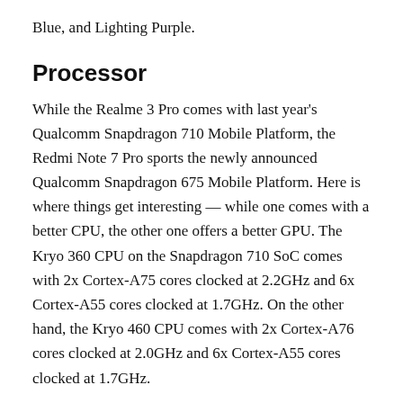Blue, and Lighting Purple.
Processor
While the Realme 3 Pro comes with last year's Qualcomm Snapdragon 710 Mobile Platform, the Redmi Note 7 Pro sports the newly announced Qualcomm Snapdragon 675 Mobile Platform. Here is where things get interesting — while one comes with a better CPU, the other one offers a better GPU. The Kryo 360 CPU on the Snapdragon 710 SoC comes with 2x Cortex-A75 cores clocked at 2.2GHz and 6x Cortex-A55 cores clocked at 1.7GHz. On the other hand, the Kryo 460 CPU comes with 2x Cortex-A76 cores clocked at 2.0GHz and 6x Cortex-A55 cores clocked at 1.7GHz.
With the newer Cortex-A76 cores, the Snapdragon 675 has a slight edge over the Snapdragon 710. However, the Snapdragon 710 Mobile Platform built on the 10nm